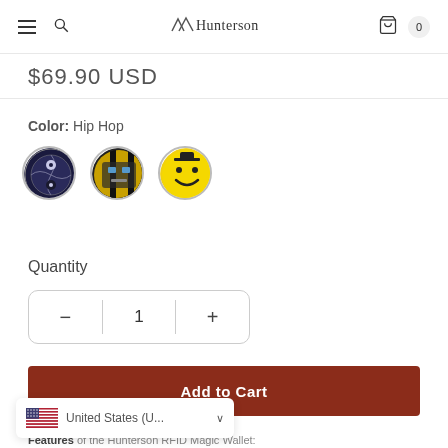Hunterson — navigation header with menu, search, cart (0)
$69.90 USD
Color: Hip Hop
[Figure (illustration): Three circular color swatches: first is dark globe/yin-yang design, second is black and yellow striped design, third is yellow smiley face]
Quantity
1 (quantity selector with minus and plus buttons)
Add to Cart
United States (U... dropdown with US flag
Features of the Hunterson RFID Magic Wallet: